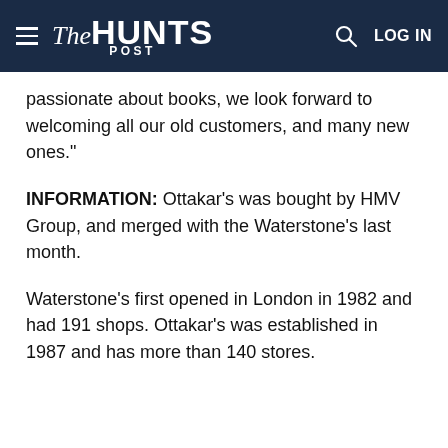The Hunts Post
passionate about books, we look forward to welcoming all our old customers, and many new ones."
INFORMATION: Ottakar's was bought by HMV Group, and merged with the Waterstone's last month.
Waterstone's first opened in London in 1982 and had 191 shops. Ottakar's was established in 1987 and has more than 140 stores.